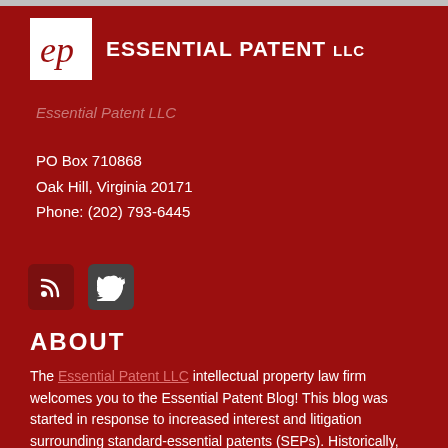[Figure (logo): Essential Patent LLC logo with stylized 'ep' monogram in white box and company name in white uppercase text]
Essential Patent LLC
PO Box 710868
Oak Hill, Virginia 20171
Phone: (202) 793-6445
[Figure (other): RSS feed icon and Twitter bird icon social media buttons]
ABOUT
The Essential Patent LLC intellectual property law firm welcomes you to the Essential Patent Blog! This blog was started in response to increased interest and litigation surrounding standard-essential patents (SEPs). Historically, most SEP issues were relegated to theoretical discussions in academic literature or conference presentations. But that's